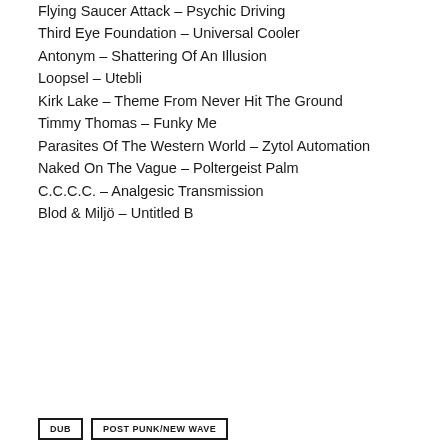Flying Saucer Attack – Psychic Driving
Third Eye Foundation – Universal Cooler
Antonym – Shattering Of An Illusion
Loopsel – Utebli
Kirk Lake – Theme From Never Hit The Ground
Timmy Thomas – Funky Me
Parasites Of The Western World – Zytol Automation
Naked On The Vague – Poltergeist Palm
C.C.C.C. – Analgesic Transmission
Blod & Miljö – Untitled B
DUB
POST PUNK/NEW WAVE